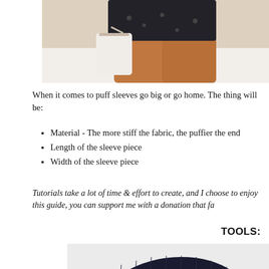[Figure (photo): Cropped photo of a person wearing a dark floral skirt/shorts and holding a white bag, showing legs from waist down on a light tile background]
When it comes to puff sleeves go big or go home. The thing will be:
Material - The more stiff the fabric, the puffier the end
Length of the sleeve piece
Width of the sleeve piece
Tutorials take a lot of time & effort to create, and I choose to enjoy this guide, you can support me with a donation that fa
TOOLS:
[Figure (photo): Photo of a dark navy/black textured fabric piece laid flat on a light surface, showing a smocked or textured weave pattern]